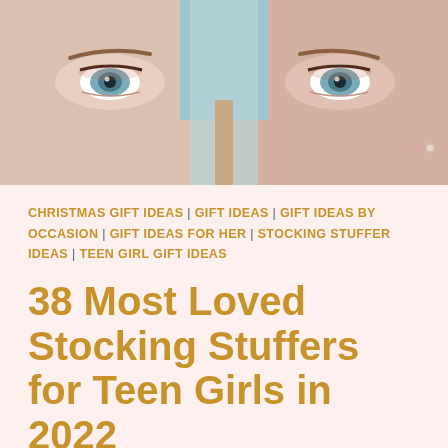[Figure (photo): Close-up photo of two teenage girls' faces showing only their eyes and foreheads, both with blue eyes, one wearing a light blue headband/towel wrap]
CHRISTMAS GIFT IDEAS | GIFT IDEAS | GIFT IDEAS BY OCCASION | GIFT IDEAS FOR HER | STOCKING STUFFER IDEAS | TEEN GIRL GIFT IDEAS
38 Most Loved Stocking Stuffers for Teen Girls in 2022
Impress your teenage girl on the